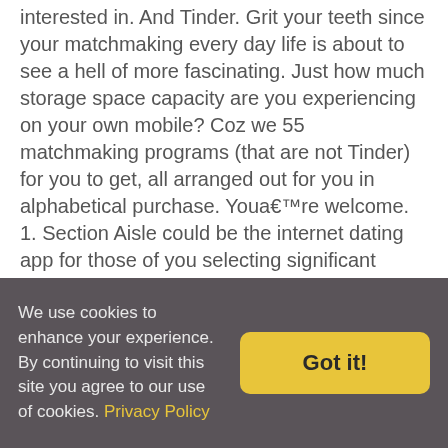interested in. And Tinder. Grit your teeth since your matchmaking every day life is about to see a hell of more fascinating. Just how much storage space capacity are you experiencing on your own mobile? Coz we 55 matchmaking programs (that are not Tinder) for you to get, all arranged out for you in alphabetical purchase. Youa€™re welcome. 1. Section Aisle could be the internet dating app for those of you selecting significant connections. Ita€™s not likely that a person who's searching for simply a hook-up will likely be about online dating software, if you want to get married or have actually a long-lasting commitment, it is a good choice. Offer every one
We use cookies to enhance your experience. By continuing to visit this site you agree to our use of cookies. Privacy Policy